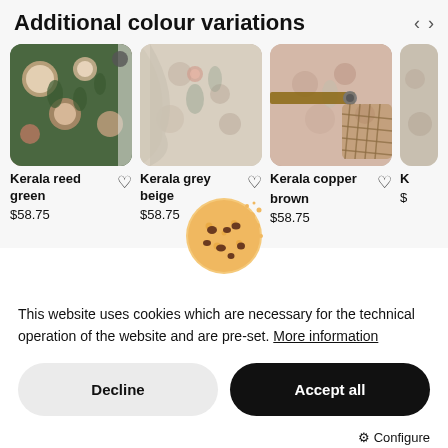Additional colour variations
[Figure (photo): Kerala reed green wallpaper - dark green floral pattern with pink and cream flowers]
Kerala reed green
$58.75
[Figure (photo): Kerala grey beige wallpaper - light beige floral pattern, corner detail]
Kerala grey beige
$58.75
[Figure (photo): Kerala copper brown wallpaper - pink/copper floral pattern with wicker basket]
Kerala copper brown
$58.75
[Figure (illustration): Cookie emoji - chocolate chip cookie with crumbs]
This website uses cookies which are necessary for the technical operation of the website and are pre-set. More information
Decline
Accept all
⚙ Configure